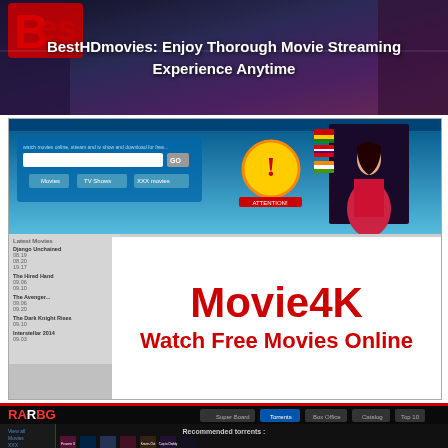[Figure (screenshot): BestHDmovies website banner with dark purple/blue background and movie-themed visuals. Red logo in top-left corner.]
BestHDmovies: Enjoy Thorough Movie Streaming Experience Anytime
[Figure (screenshot): Movie4K website screenshot showing blue streaming site interface with attention icon, girl in red dress, Movie4K overlay in white with red text 'Movie4K' and 'Watch Free Movies Online']
Movie4k: Movie Streaming Platform
[Figure (screenshot): RARBG torrent website screenshot showing recommended torrents with movie posters including Frozen II, Knives Out, Cop to Daddy, Allied, 21 Bridges]